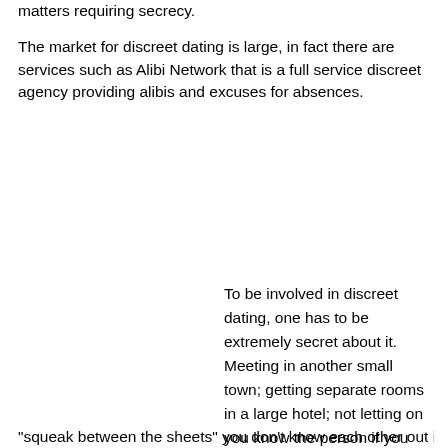matters requiring secrecy.
The market for discreet dating is large, in fact there are services such as Alibi Network that is a full service discreet agency providing alibis and excuses for absences.
To be involved in discreet dating, one has to be extremely secret about it. Meeting in another small town; getting separate rooms in a large hotel; not letting on you know the person if you are at same event they are. In other words, short of having the odd
"squeak between the sheets" you don't know each other out in public.